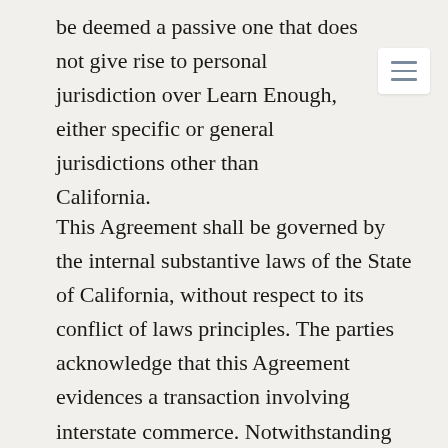be deemed a passive one that does not give rise to personal jurisdiction over Learn Enough, either specific or general jurisdictions other than California.
This Agreement shall be governed by the internal substantive laws of the State of California, without respect to its conflict of laws principles. The parties acknowledge that this Agreement evidences a transaction involving interstate commerce. Notwithstanding the preceding sentences with respect to the substantive law, any arbitration conducted pursuant to the terms of this Agreement shall be governed by the Federal Arbitration Act (9 U.S.C. §§ 1-16). The application of the United Nations Convention on Contracts for the International Sale of Goods is expressly excluded. You agree to submit to the personal jurisdiction of the federal and state courts located in Los Angeles County, California for any actions for which we retain the right to seek injunctive or